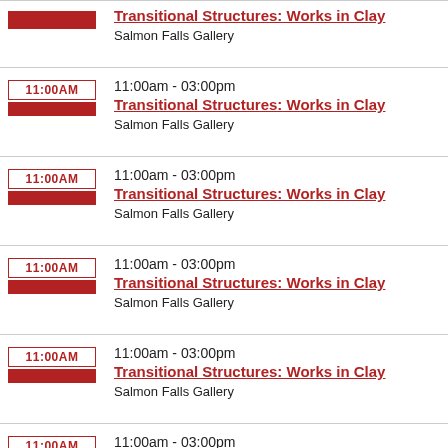Transitional Structures: Works in Clay | Salmon Falls Gallery
11:00am - 03:00pm | Transitional Structures: Works in Clay | Salmon Falls Gallery
11:00am - 03:00pm | Transitional Structures: Works in Clay | Salmon Falls Gallery
11:00am - 03:00pm | Transitional Structures: Works in Clay | Salmon Falls Gallery
11:00am - 03:00pm | Transitional Structures: Works in Clay | Salmon Falls Gallery
11:00am - 03:00pm | Transitional Structures: Works in Clay | Salmon Falls Gallery